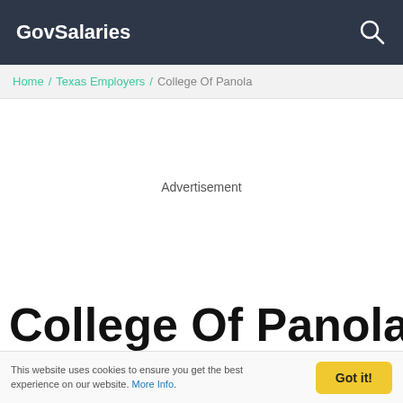GovSalaries
Home / Texas Employers / College Of Panola
Advertisement
College Of Panola
This website uses cookies to ensure you get the best experience on our website. More Info.